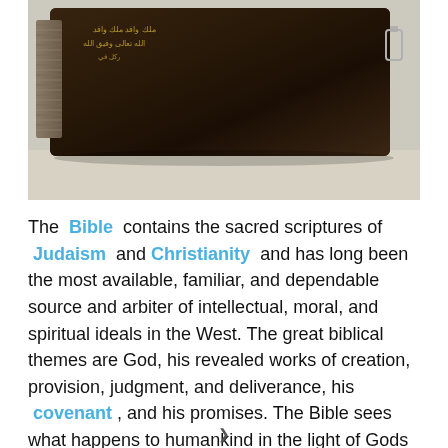[Figure (photo): Photograph of an old dark leather-bound book with Arabic/gold script on the cover, with pages visible on the left side and a metal clip on the right, resting on a light surface.]
The Bible contains the sacred scriptures of Judaism and Christianity and has long been the most available, familiar, and dependable source and arbiter of intellectual, moral, and spiritual ideals in the West. The great biblical themes are God, his revealed works of creation, provision, judgment, and deliverance, his covenant , and his promises. The Bible sees what happens to humankind in the light of Gods nature, righteousness, faithfulness, mercy, and love.